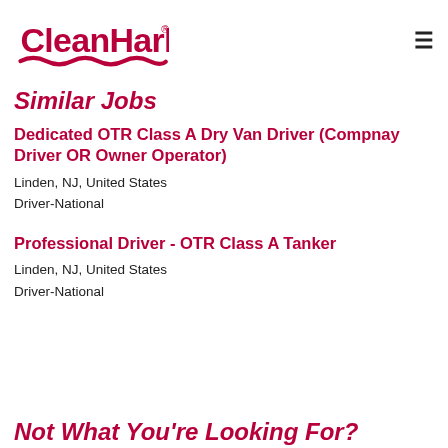[Figure (logo): CleanHarbors logo in red with wave underline and registered trademark symbol]
Similar Jobs
Dedicated OTR Class A Dry Van Driver (Compnay Driver OR Owner Operator)
Linden, NJ, United States
Driver-National
Professional Driver - OTR Class A Tanker
Linden, NJ, United States
Driver-National
Not What You're Looking For?